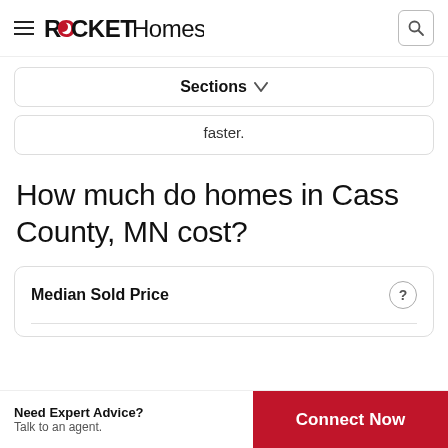ROCKET Homes
Sections
faster.
How much do homes in Cass County, MN cost?
Median Sold Price
Need Expert Advice? Talk to an agent.
Connect Now